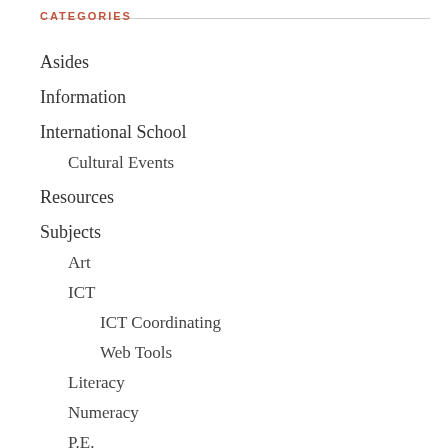CATEGORIES
Asides
Information
International School
Cultural Events
Resources
Subjects
Art
ICT
ICT Coordinating
Web Tools
Literacy
Numeracy
P.E.